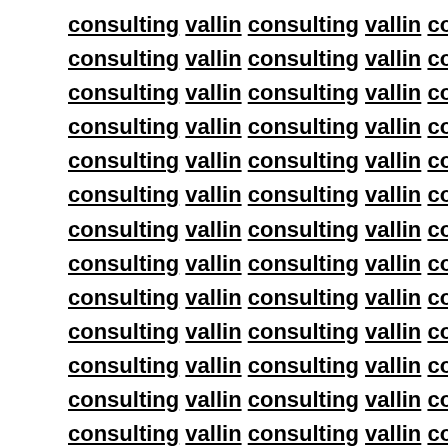consulting vallin consulting vallin consulting vallin consulting vallin consulting vallin consulting vallin consulting vallin consulting vallin consulting vallin consulting vallin consulting vallin consulting vallin consulting vallin consulting vallin consulting vallin consulting vallin consulting vallin
consulting vallin consulting vallin consulting vallin